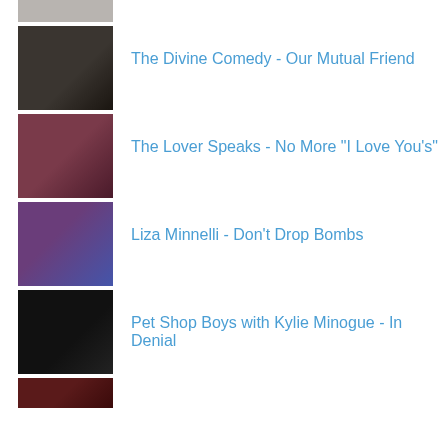[Figure (photo): Partial thumbnail image at top, black and white photo]
[Figure (photo): The Divine Comedy album or artist thumbnail, dark tones]
The Divine Comedy - Our Mutual Friend
[Figure (photo): The Lover Speaks thumbnail, dark reddish tones]
The Lover Speaks - No More "I Love You's"
[Figure (photo): Liza Minnelli thumbnail, purple/blue tones]
Liza Minnelli - Don't Drop Bombs
[Figure (photo): Pet Shop Boys with Kylie Minogue thumbnail, very dark]
Pet Shop Boys with Kylie Minogue - In Denial
[Figure (photo): Partial thumbnail at bottom, dark red tones]